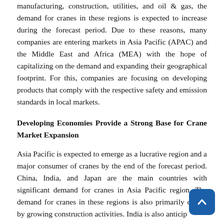manufacturing, construction, utilities, and oil & gas, the demand for cranes in these regions is expected to increase during the forecast period. Due to these reasons, many companies are entering markets in Asia Pacific (APAC) and the Middle East and Africa (MEA) with the hope of capitalizing on the demand and expanding their geographical footprint. For this, companies are focusing on developing products that comply with the respective safety and emission standards in local markets.
Developing Economies Provide a Strong Base for Crane Market Expansion
Asia Pacific is expected to emerge as a lucrative region and a major consumer of cranes by the end of the forecast period. China, India, and Japan are the main countries with significant demand for cranes in Asia Pacific region. The demand for cranes in these regions is also primarily driven by growing construction activities. India is also anticipated